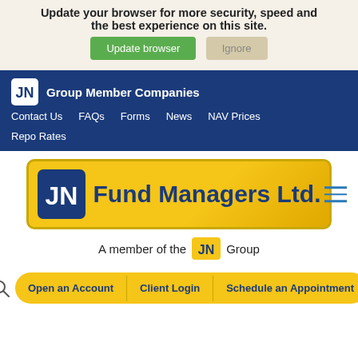Update your browser for more security, speed and the best experience on this site.
Update browser | Ignore
JN Group Member Companies | Contact Us | FAQs | Forms | News | NAV Prices | Repo Rates
[Figure (logo): JN Fund Managers Ltd. logo with golden background and JN symbol]
A member of the JN Group
Open an Account | Client Login | Schedule an Appointment